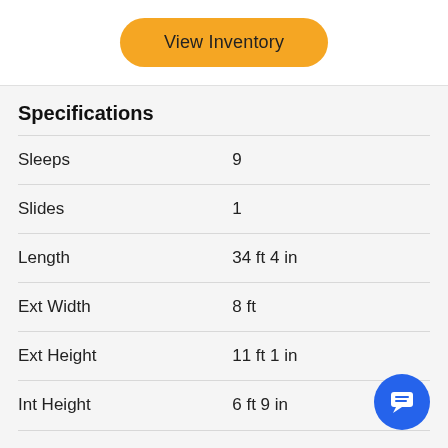View Inventory
Specifications
| Specification | Value |
| --- | --- |
| Sleeps | 9 |
| Slides | 1 |
| Length | 34 ft 4 in |
| Ext Width | 8 ft |
| Ext Height | 11 ft 1 in |
| Int Height | 6 ft 9 in |
| Interior Color | Classic Cottage, Modern Farmhouse |
| Hitch Weight | 670 lbs |
| Gross Weight | 7750 lbs |